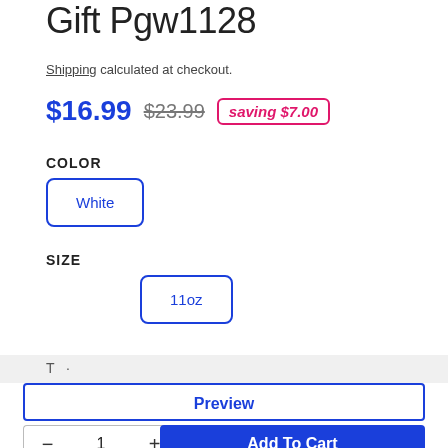Gift Pgw1128
Shipping calculated at checkout.
$16.99  $23.99  saving $7.00
COLOR
White
SIZE
11oz
Preview
− 1 + Add To Cart